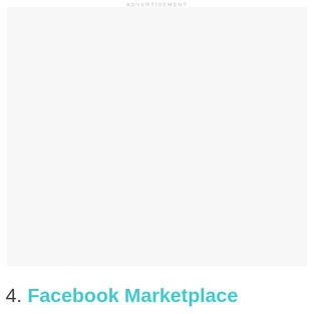ADVERTISEMENT
[Figure (other): Advertisement placeholder box with light gray background]
4. Facebook Marketplace